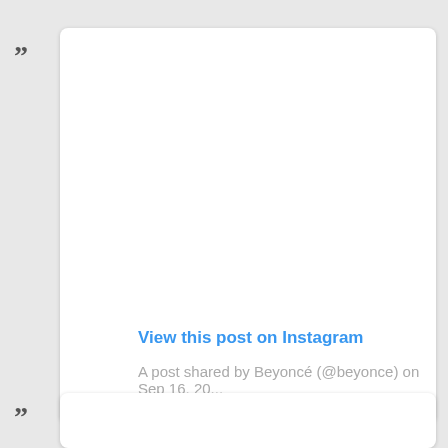[Figure (screenshot): Embedded Instagram post card showing 'View this post on Instagram' link and caption 'A post shared by Beyoncé (@beyonce) on Sep 16, 20...']
View this post on Instagram
A post shared by Beyoncé (@beyonce) on Sep 16, 20...
[Figure (screenshot): Second Instagram embed card (partially visible at bottom)]